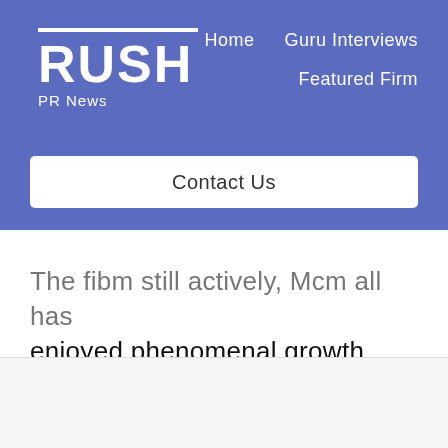RUSH PR News — Home | Guru Interviews | Featured Firm | Contact Us
enjoyed phenomenal growth since its launch in October 2006 and more than 2500 people have joined up to earn extra money and start their own home business. The size of growth can be measured by the fact that it is now more popular with ClixGalore, the number one affiliate